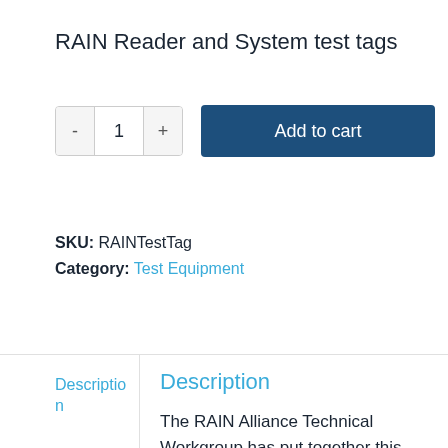RAIN Reader and System test tags
[Figure (other): Add to cart UI with quantity selector showing minus button, quantity value 1, plus button, and a blue Add to cart button]
SKU: RAINTestTag
Category: Test Equipment
Description
Description
The RAIN Alliance Technical Workgroup has put together this set of